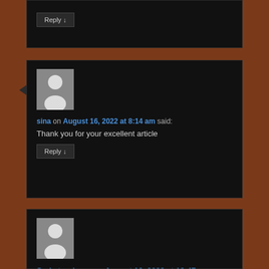Reply ↓
[Figure (illustration): Default avatar placeholder for user sina]
sina on August 16, 2022 at 8:14 am said:
Thank you for your excellent article
Reply ↓
[Figure (illustration): Default avatar placeholder for user Serie turche eu]
Serie turche eu on August 16, 2022 at 12:47 pm said:
Every person can see serie turche eu subtitrat in